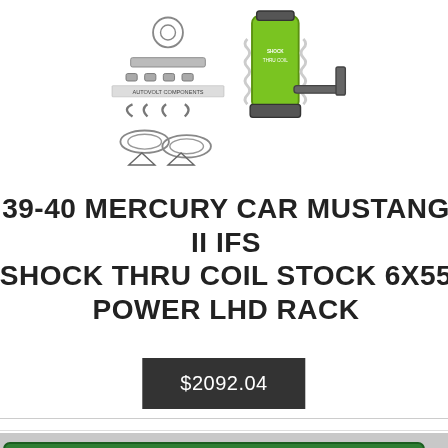[Figure (photo): Product photo showing suspension kit parts including brake components and a green shock absorber assembly]
39-40 MERCURY CAR MUSTANG II IFS SHOCK THRU COIL STOCK 6X55 POWER LHD RACK
$2092.04
[Figure (photo): Close-up photo of a green Swissflex branded component/part]